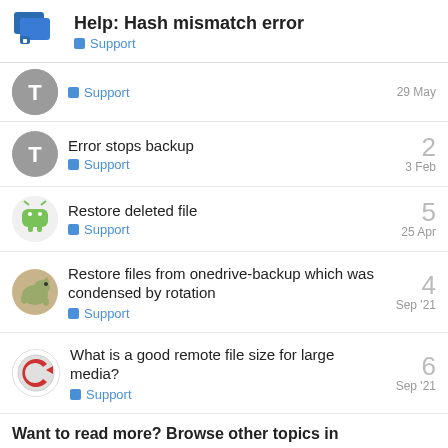Help: Hash mismatch error — Support
Support — 29 May
Error stops backup — Support — 3 Feb — 2 replies
Restore deleted file — Support — 25 Apr — 5 replies
Restore files from onedrive-backup which was condensed by rotation — Support — Sep '21 — 4 replies
What is a good remote file size for large media? — Support — Sep '21 — 6 replies
Want to read more? Browse other topics in Support or view latest topics.